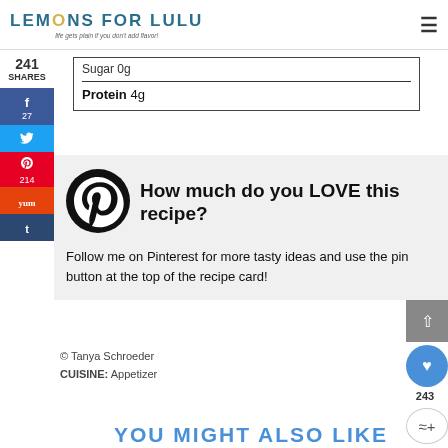LEMONS FOR LULU - life gets plain if you don't add flavor!
241 SHARES
| Sugar 0g |
| Protein 4g |
[Figure (infographic): Pinterest logo (black circle with white P) next to bold text: How much do you LOVE this recipe? Below: Follow me on Pinterest for more tasty ideas and use the pin button at the top of the recipe card!]
© Tanya Schroeder
CUISINE: Appetizer
YOU MIGHT ALSO LIKE